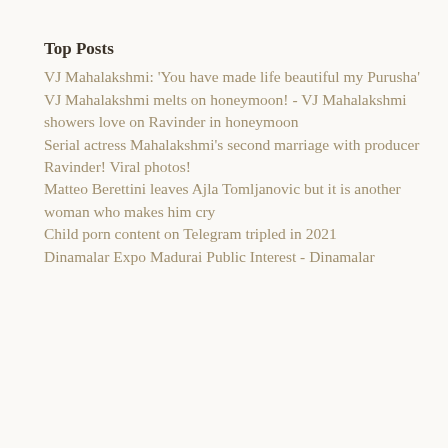Top Posts
VJ Mahalakshmi: 'You have made life beautiful my Purusha' VJ Mahalakshmi melts on honeymoon! - VJ Mahalakshmi showers love on Ravinder in honeymoon
Serial actress Mahalakshmi's second marriage with producer Ravinder! Viral photos!
Matteo Berettini leaves Ajla Tomljanovic but it is another woman who makes him cry
Child porn content on Telegram tripled in 2021
Dinamalar Expo Madurai Public Interest - Dinamalar